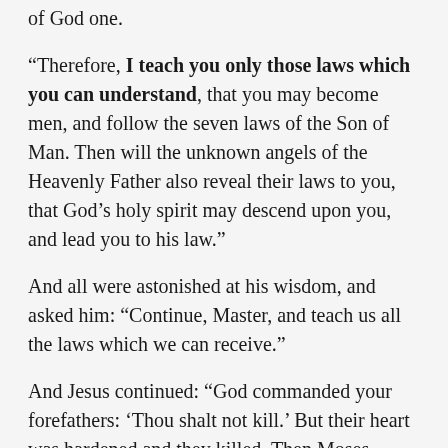of God one.
“Therefore, I teach you only those laws which you can understand, that you may become men, and follow the seven laws of the Son of Man. Then will the unknown angels of the Heavenly Father also reveal their laws to you, that God’s holy spirit may descend upon you, and lead you to his law.”
And all were astonished at his wisdom, and asked him: “Continue, Master, and teach us all the laws which we can receive.”
And Jesus continued: “God commanded your forefathers: ‘Thou shalt not kill.’ But their heart was hardened and they killed. Then Moses desired that at least they should not kill men, and he suffered them to kill beasts. And then the heart of your...